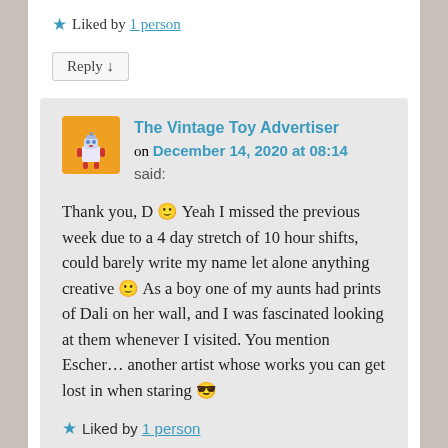★ Liked by 1 person
Reply ↓
The Vintage Toy Advertiser on December 14, 2020 at 08:14 said:
Thank you, D 🙂 Yeah I missed the previous week due to a 4 day stretch of 10 hour shifts, could barely write my name let alone anything creative 🙂 As a boy one of my aunts had prints of Dali on her wall, and I was fascinated looking at them whenever I visited. You mention Escher… another artist whose works you can get lost in when staring 😎
★ Liked by 1 person